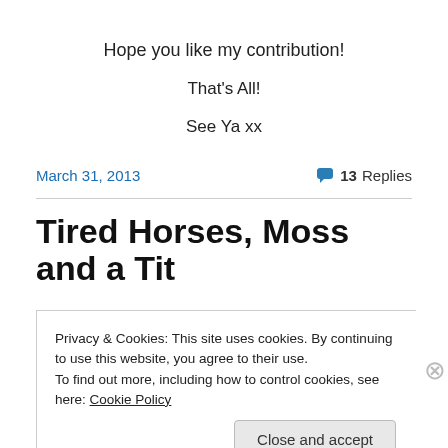Hope you like my contribution!
That's All!
See Ya xx
March 31, 2013
13 Replies
Tired Horses, Moss and a Tit
Privacy & Cookies: This site uses cookies. By continuing to use this website, you agree to their use.
To find out more, including how to control cookies, see here: Cookie Policy
Close and accept